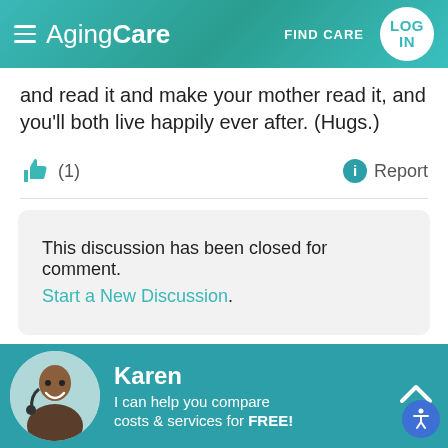AgingCare — FIND CARE — LOG IN
and read it and make your mother read it, and you'll both live happily ever after. (Hugs.)
(1)   Report
This discussion has been closed for comment. Start a New Discussion.
ADVERTISEMENT
Karen
I can help you compare costs & services for FREE!